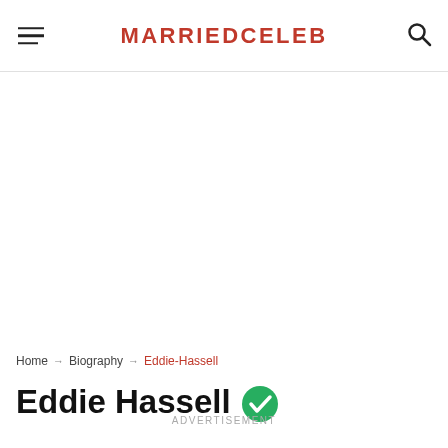MARRIEDCELEB
[Figure (other): Advertisement / blank content area]
Home → Biography → Eddie-Hassell
Eddie Hassell